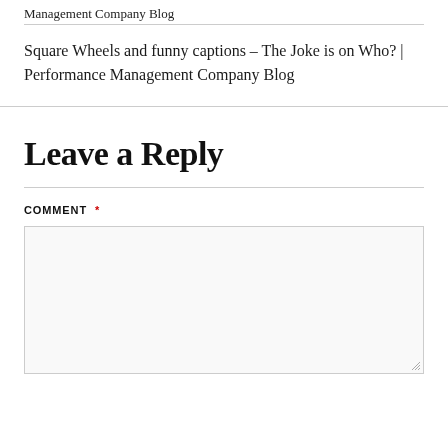Management Company Blog
Square Wheels and funny captions – The Joke is on Who? | Performance Management Company Blog
Leave a Reply
COMMENT *